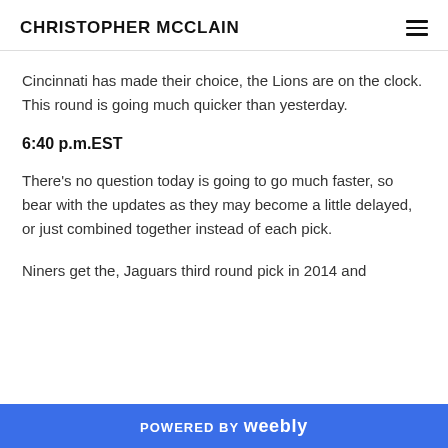CHRISTOPHER MCCLAIN
Cincinnati has made their choice, the Lions are on the clock. This round is going much quicker than yesterday.
6:40 p.m.EST
There's no question today is going to go much faster, so bear with the updates as they may become a little delayed, or just combined together instead of each pick.
Niners get the, Jaguars third round pick in 2014 and
POWERED BY weebly